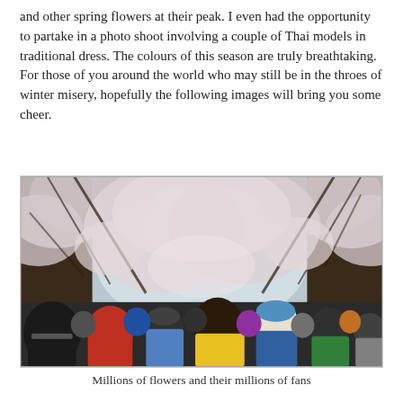and other spring flowers at their peak. I even had the opportunity to partake in a photo shoot involving a couple of Thai models in traditional dress. The colours of this season are truly breathtaking. For those of you around the world who may still be in the throes of winter misery, hopefully the following images will bring you some cheer.
[Figure (photo): A crowd of tourists walking beneath a canopy of blooming cherry blossom trees, their pink-white flowers filling the sky. Many people are wearing colorful jackets and hats. One person in a bright yellow jacket is prominent in the foreground.]
Millions of flowers and their millions of fans